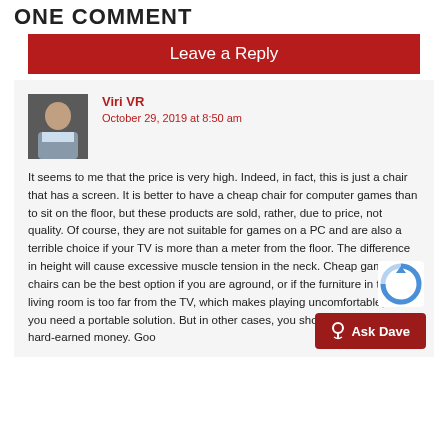ONE COMMENT
Leave a Reply
[Figure (photo): Avatar photo of commenter Viri VR, a man in a suit]
Viri VR
October 29, 2019 at 8:50 am
It seems to me that the price is very high. Indeed, in fact, this is just a chair that has a screen. It is better to have a cheap chair for computer games than to sit on the floor, but these products are sold, rather, due to price, not quality. Of course, they are not suitable for games on a PC and are also a terrible choice if your TV is more than a meter from the floor. The difference in height will cause excessive muscle tension in the neck. Cheap gaming chairs can be the best option if you are aground, or if the furniture in the living room is too far from the TV, which makes playing uncomfortable, and you need a portable solution. But in other cases, you should not spend your hard-earned money. Goo